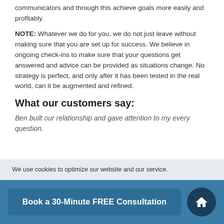communicators and through this achieve goals more easily and profitably.
NOTE: Whatever we do for you, we do not just leave without making sure that you are set up for success. We believe in ongoing check-ins to make sure that your questions get answered and advice can be provided as situations change. No strategy is perfect, and only after it has been tested in the real world, can it be augmented and refined.
What our customers say:
Ben built our relationship and gave attention to my every question.
We use cookies to optimize our website and our service.
Book a 30-Minute FREE Consultation